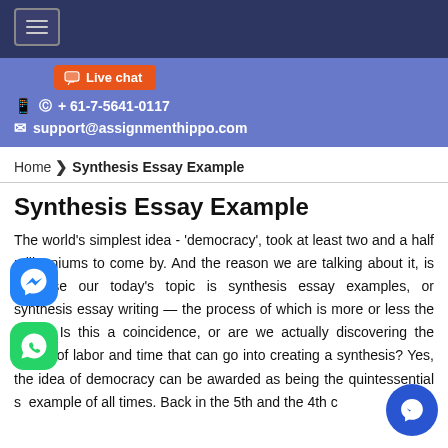Navigation menu header with hamburger button
Live chat | + 61-7-5641-0117 | support@assignmenthippo.com
Home › Synthesis Essay Example
Synthesis Essay Example
The world's simplest idea - ‘democracy’, took at least two and a half millenniums to come by. And the reason we are talking about it, is because our today's topic is synthesis essay examples, or synthesis essay writing — the process of which is more or less the same. Is this a coincidence, or are we actually discovering the extent of labor and time that can go into creating a synthesis? Yes, the idea of democracy can be awarded as being the quintessential synthesis example of all times. Back in the 5th and the 4th century BCE, Plato, followed by Aristotle, gave us the first